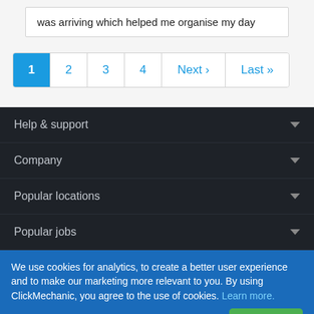was arriving which helped me organise my day
1 2 3 4 Next › Last »
Help & support
Company
Popular locations
Popular jobs
We use cookies for analytics, to create a better user experience and to make our marketing more relevant to you. By using ClickMechanic, you agree to the use of cookies. Learn more.